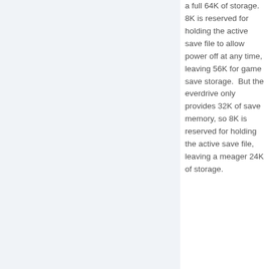a full 64K of storage.  8K is reserved for holding the active save file to allow power off at any time, leaving 56K for game save storage.  But the everdrive only provides 32K of save memory, so 8K is reserved for holding the active save file, leaving a meager 24K of storage.